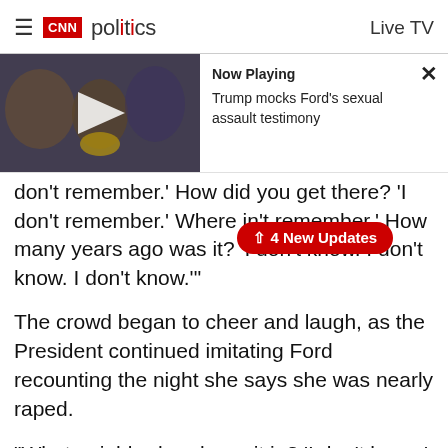CNN politics  Live TV
[Figure (screenshot): Video thumbnail of Trump at podium with crowd, with play button overlay. Now Playing panel: 'Trump mocks Ford's sexual assault testimony'. Close (X) button top right.]
don't remember.' How did you get there? 'I don't remember.' Where i[4 New Updates]n't remember.' How many years ago was it? 'I don't know. I don't know. I don't know.'"
The crowd began to cheer and laugh, as the President continued imitating Ford recounting the night she says she was nearly raped.
"What neighborhood was it in? 'I don't know.' Where's the house? 'I don't know. Upstairs. Downstairs. I don't know. But I had one beer that's the only thing I remember,'" Trump continued.